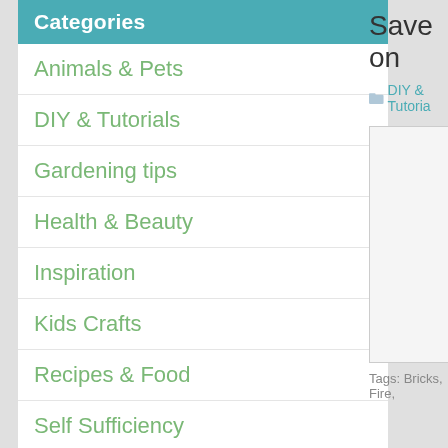Categories
Animals & Pets
DIY & Tutorials
Gardening tips
Health & Beauty
Inspiration
Kids Crafts
Recipes & Food
Self Sufficiency
Uncategorized
Up-cycle & Recycle
Archives
Select Month
Save on
DIY & Tutoria
[Figure (photo): Partially visible image on the right side of the page]
Tags: Bricks, Fire,